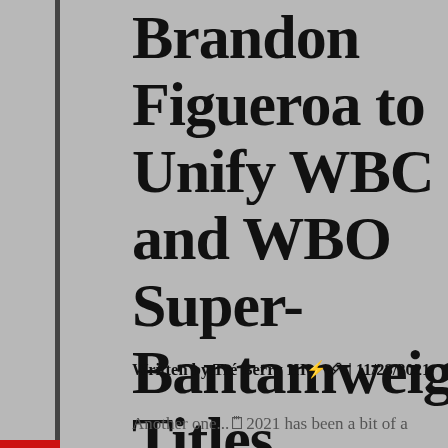Brandon Figueroa to Unify WBC and WBO Super-Bantamweight Titles
Written by Tré Berry III⚡🖊 | 11/28/2021
Another one...🗒2021 has been a bit of a